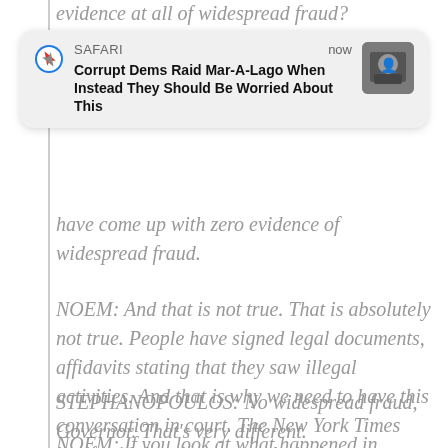evidence at all of widespread fraud?
[Figure (screenshot): Safari browser push notification card reading: 'Corrupt Dems Raid Mar-A-Lago When Instead They Should Be Worried About This', timestamped 'now', with a thumbnail image of a person in a suit]
have come up with zero evidence of widespread fraud.
NOEM: And that is not true. That is absolutely not true. People have signed legal documents, affidavits stating that they saw illegal activities. And that is why we need to have this conversation in court. The New York Times itself said that there were clerical errors.
STEPHANOPOULOS: No widespread fraud, Governor. That’s very different.
NOEM: If you look at what happened in Michigan, that we had computer glitches that changed Republican votes to Democratic votes...